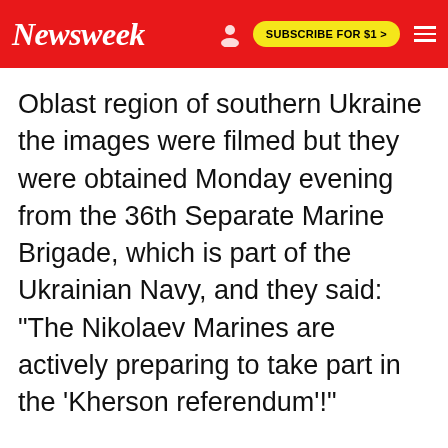Newsweek | SUBSCRIBE FOR $1 >
Oblast region of southern Ukraine the images were filmed but they were obtained Monday evening from the 36th Separate Marine Brigade, which is part of the Ukrainian Navy, and they said: "The Nikolaev Marines are actively preparing to take part in the 'Kherson referendum'!"